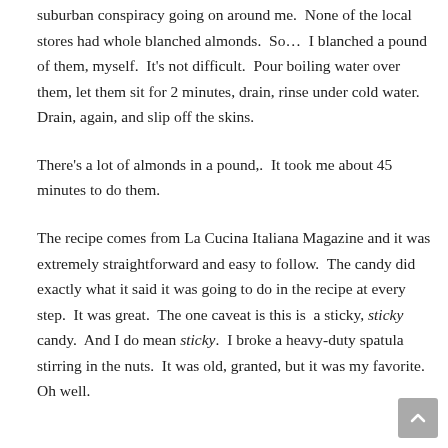suburban conspiracy going on around me.  None of the local stores had whole blanched almonds.  So…  I blanched a pound of them, myself.  It's not difficult.  Pour boiling water over them, let them sit for 2 minutes, drain, rinse under cold water.  Drain, again, and slip off the skins.
There's a lot of almonds in a pound,.  It took me about 45 minutes to do them.
The recipe comes from La Cucina Italiana Magazine and it was extremely straightforward and easy to follow.  The candy did exactly what it said it was going to do in the recipe at every step.  It was great.  The one caveat is this is  a sticky, sticky candy.  And I do mean sticky.  I broke a heavy-duty spatula stirring in the nuts.  It was old, granted, but it was my favorite.  Oh well.